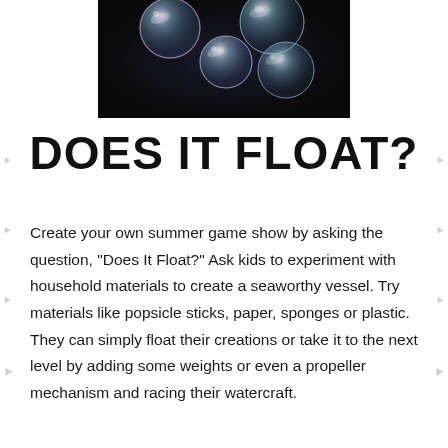[Figure (photo): Photograph of colorful iridescent soap bubbles floating against a dark background]
DOES IT FLOAT?
Create your own summer game show by asking the question, "Does It Float?" Ask kids to experiment with household materials to create a seaworthy vessel. Try materials like popsicle sticks, paper, sponges or plastic. They can simply float their creations or take it to the next level by adding some weights or even a propeller mechanism and racing their watercraft.